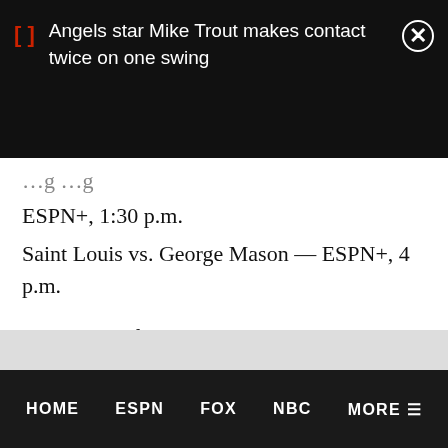Angels star Mike Trout makes contact twice on one swing
ESPN+, 1:30 p.m.
Saint Louis vs. George Mason — ESPN+, 4 p.m.
Big Ten Conference Tournament
1st Round, Gainbridge Fieldhouse, Indianapolis, IN
Rutgers vs. Penn State — Big Ten Network, 2 p.m.
Illinois vs. Wisconsin — Big Ten Network, 4:30 p.m.
HOME   ESPN   FOX   NBC   MORE